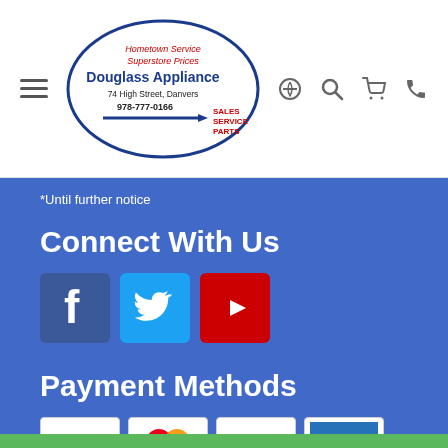[Figure (logo): Douglass Appliance logo: oval shape with text 'Hometown Service, Superstore Prices, Douglass Appliance, 74 High Street, Danvers, 978-777-0166, SALES SERVICE PARTS' with arrow]
*Until further notice
Connect With Us
[Figure (illustration): Social media icons: Facebook (blue), Twitter (cyan), YouTube (red)]
Payment Methods
[Figure (illustration): Payment method logos: VISA, MasterCard, Discover, American Express, Brand Source]